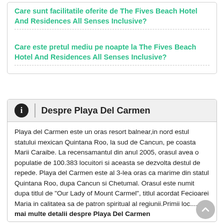Care sunt facilitatile oferite de The Fives Beach Hotel And Residences All Senses Inclusive?
Care este pretul mediu pe noapte la The Fives Beach Hotel And Residences All Senses Inclusive?
Despre Playa Del Carmen
Playa del Carmen este un oras resort balnear,in nord estul statului mexican Quintana Roo, la sud de Cancun, pe coasta Marii Caraibe. La recensamantul din anul 2005, orasul avea o populatie de 100.383 locuitori si aceasta se dezvolta destul de repede. Playa del Carmen este al 3-lea oras ca marime din statul Quintana Roo, dupa Cancun si Chetumal. Orasul este numit dupa titlul de "Our Lady of Mount Carmel", titlul acordat Fecioarei Maria in calitatea sa de patron spiritual al regiunii.Primii loc..... mai multe detalii despre Playa Del Carmen